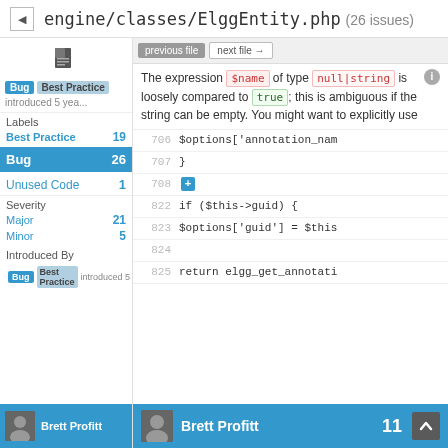engine/classes/ElggEntity.php (26 issues)
The expression $name of type null|string is loosely compared to true; this is ambiguous if the string can be empty. You might want to explicitly use
Bug 26
Unused Code 1
706   $options['annotation_nam
707   }
708
822   if ($this->guid) {
823   $options['guid'] = $this
824
825   return elgg_get_annotati
Introduced By
Brett Profitt 11